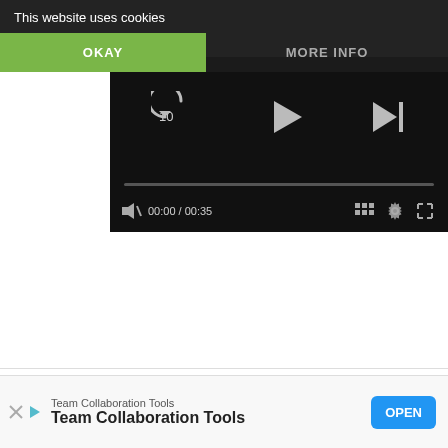This website uses cookies
OKAY
MORE INFO
[Figure (screenshot): Video player interface showing replay-10, play, and next-track buttons, a progress bar at 00:00/00:35, with mute, grid, settings, and fullscreen controls on a black background]
Team Collaboration Tools
Team Collaboration Tools
OPEN